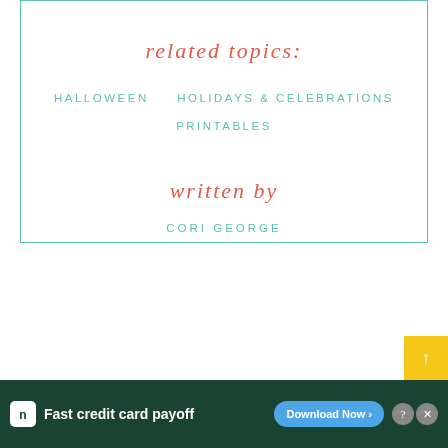related topics:
HALLOWEEN    HOLIDAYS & CELEBRATIONS    PRINTABLES
written by
CORI GEORGE
[Figure (screenshot): Advertisement banner for Tally app: dark green background, Tally logo, text 'Fast credit card payoff', Download Now button]
[Figure (other): Yellow square button with upward arrow]